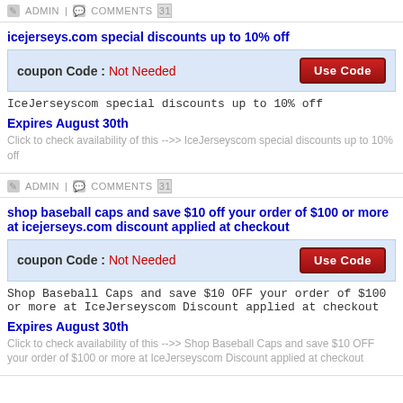ADMIN | COMMENTS
icejerseys.com special discounts up to 10% off
coupon Code : Not Needed
IceJerseyscom special discounts up to 10% off
Expires August 30th
Click to check availability of this -->> IceJerseyscom special discounts up to 10% off
ADMIN | COMMENTS
shop baseball caps and save $10 off your order of $100 or more at icejerseys.com discount applied at checkout
coupon Code : Not Needed
Shop Baseball Caps and save $10 OFF your order of $100 or more at IceJerseyscom Discount applied at checkout
Expires August 30th
Click to check availability of this -->> Shop Baseball Caps and save $10 OFF your order of $100 or more at IceJerseyscom Discount applied at checkout